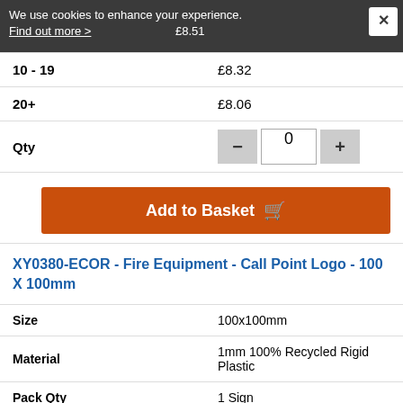We use cookies to enhance your experience. Find out more > £8.51
| Qty | Price |
| --- | --- |
| 10 - 19 | £8.32 |
| 20+ | £8.06 |
| Qty | 0 |
Add to Basket
XY0380-ECOR - Fire Equipment - Call Point Logo - 100 X 100mm
| Attribute | Value |
| --- | --- |
| Size | 100x100mm |
| Material | 1mm 100% Recycled Rigid Plastic |
| Pack Qty | 1 Sign |
| 1 | £1.14 |
| 2 - 4 | £1.08 |
| 5 - 9 | £0.95 |